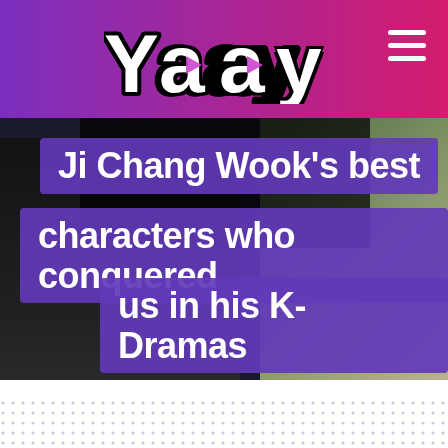Yaay
[Figure (photo): Hero image showing Ji Chang Wook in dark clothing on the left side and another scene on the right side, serving as background for the article title]
Ji Chang Wook's best characters who conquered us in his K-Dramas